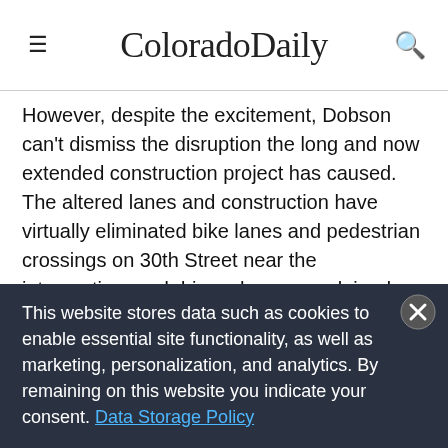ColoradoDaily
However, despite the excitement, Dobson can't dismiss the disruption the long and now extended construction project has caused. The altered lanes and construction have virtually eliminated bike lanes and pedestrian crossings on 30th Street near the intersection, and drivers have complained about confusing signage and lanes.
“As someone who lives at the corner of 30th and Colorado, the construction has significantly disrupted my life every
This website stores data such as cookies to enable essential site functionality, as well as marketing, personalization, and analytics. By remaining on this website you indicate your consent. Data Storage Policy